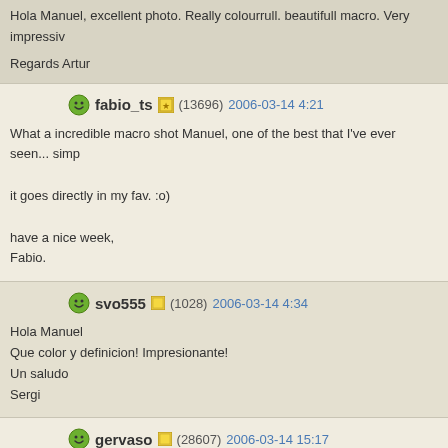Hola Manuel, excellent photo. Really colourrull. beautifull macro. Very impressiv
Regards Artur
fabio_ts (13696) 2006-03-14 4:21
What a incredible macro shot Manuel, one of the best that I've ever seen... simp
it goes directly in my fav. :o)
have a nice week,
Fabio.
svo555 (1028) 2006-03-14 4:34
Hola Manuel
Que color y definicion! Impresionante!
Un saludo
Sergi
gervaso (28607) 2006-03-14 15:17
Gosto muito desse tipo de foto em macro, e essa foi muito bem tirada. A nitidez sentir a textura da folha. Parabins, e obrigado pelo comentorio tambim.